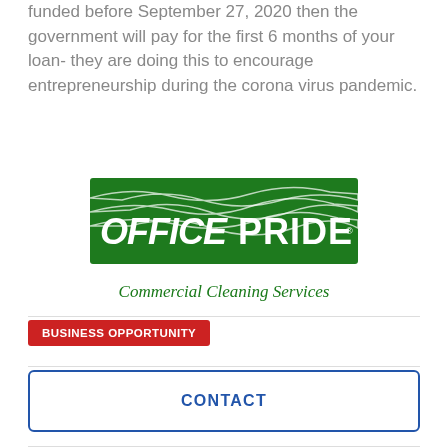funded before September 27, 2020 then the government will pay for the first 6 months of your loan- they are doing this to encourage entrepreneurship during the corona virus pandemic.
[Figure (logo): Office Pride Commercial Cleaning Services logo — green rectangular banner with white stylized text 'OFFICE PRIDE' and italic green text 'Commercial Cleaning Services' below]
BUSINESS OPPORTUNITY
CONTACT